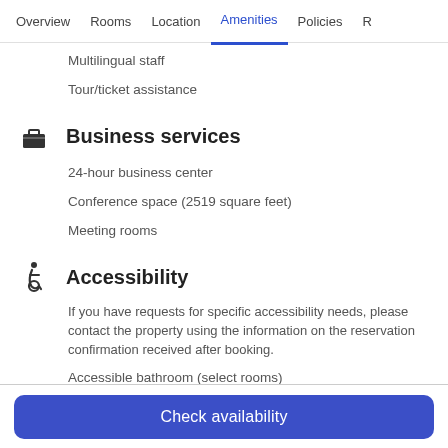Overview  Rooms  Location  Amenities  Policies  R
Multilingual staff
Tour/ticket assistance
Business services
24-hour business center
Conference space (2519 square feet)
Meeting rooms
Accessibility
If you have requests for specific accessibility needs, please contact the property using the information on the reservation confirmation received after booking.
Accessible bathroom (select rooms)
Assistive listening devices in meeting rooms
Check availability